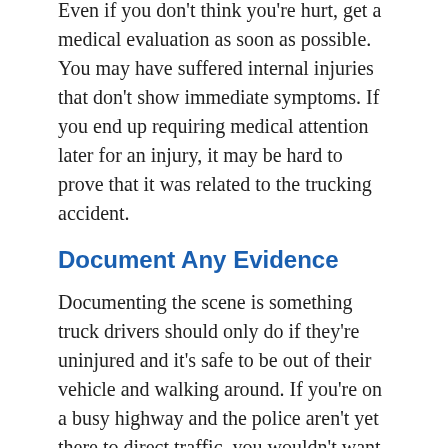Even if you don't think you're hurt, get a medical evaluation as soon as possible. You may have suffered internal injuries that don't show immediate symptoms. If you end up requiring medical attention later for an injury, it may be hard to prove that it was related to the trucking accident.
Document Any Evidence
Documenting the scene is something truck drivers should only do if they're uninjured and it's safe to be out of their vehicle and walking around. If you're on a busy highway and the police aren't yet there to direct traffic, you wouldn't want to be out on the road.
Documentation should include photos, contact information for others involved in the trucking accident, and other notes about road and weather conditions. Documentation also includes gathering information from other involved parties such as the driver's name, address, email contact, insurance information, and license number